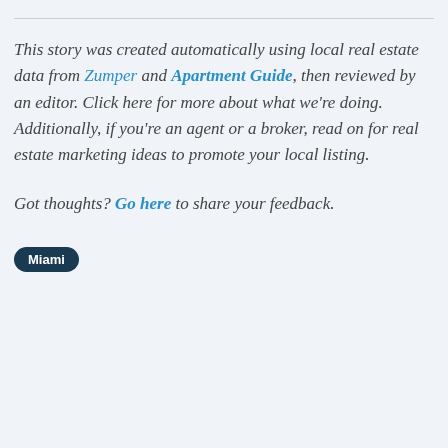This story was created automatically using local real estate data from Zumper and Apartment Guide, then reviewed by an editor. Click here for more about what we're doing. Additionally, if you're an agent or a broker, read on for real estate marketing ideas to promote your local listing.
Got thoughts? Go here to share your feedback.
Miami